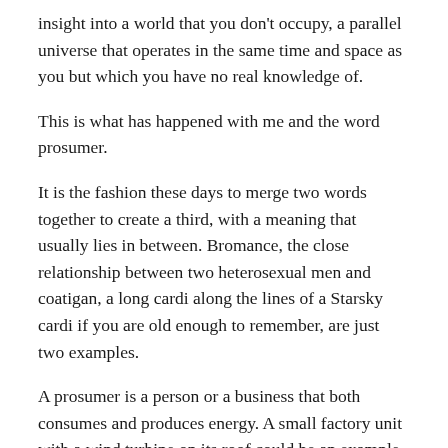insight into a world that you don't occupy, a parallel universe that operates in the same time and space as you but which you have no real knowledge of.
This is what has happened with me and the word prosumer.
It is the fashion these days to merge two words together to create a third, with a meaning that usually lies in between. Bromance, the close relationship between two heterosexual men and coatigan, a long cardi along the lines of a Starsky cardi if you are old enough to remember, are just two examples.
A prosumer is a person or a business that both consumes and produces energy. A small factory unit with a wind turbine on its roof could be an example. At times it will draw energy from the grid to meet its needs whilst at others it may donate energy back into the grid.